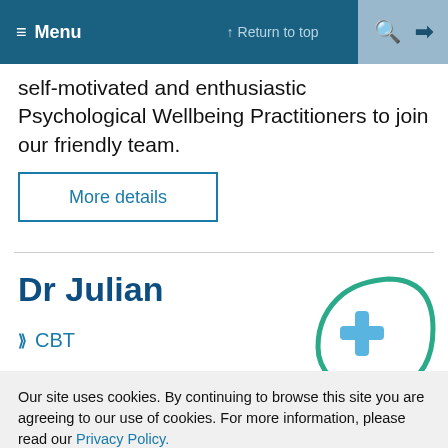Menu  ↑ Return to top  🔍  ➡
self-motivated and enthusiastic Psychological Wellbeing Practitioners to join our friendly team.
More details
Dr Julian
CBT
[Figure (logo): Dr Julian logo: a teal arc forming a head silhouette with a blue medical cross inside, and 'DR JULIAN' text in large teal letters below]
Our site uses cookies. By continuing to browse this site you are agreeing to our use of cookies. For more information, please read our Privacy Policy.
OK